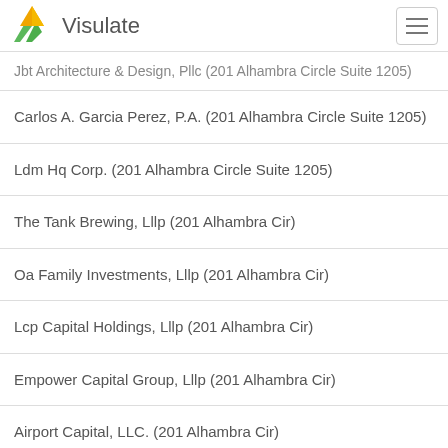Visulate
Jbt Architecture & Design, Pllc (201 Alhambra Circle Suite 1205)
Carlos A. Garcia Perez, P.A. (201 Alhambra Circle Suite 1205)
Ldm Hq Corp. (201 Alhambra Circle Suite 1205)
The Tank Brewing, Lllp (201 Alhambra Cir)
Oa Family Investments, Lllp (201 Alhambra Cir)
Lcp Capital Holdings, Lllp (201 Alhambra Cir)
Empower Capital Group, Lllp (201 Alhambra Cir)
Airport Capital, LLC. (201 Alhambra Cir)
Law Offices Of Rene Diaz, LLC (201 Alhambra Cir)
Wap Holdings, LLC (201 Alhambra Cir)